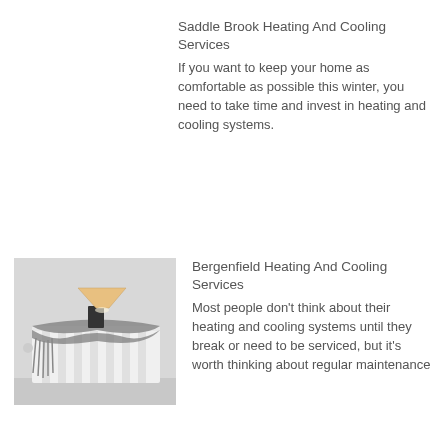Saddle Brook Heating And Cooling Services
If you want to keep your home as comfortable as possible this winter, you need to take time and invest in heating and cooling systems.
[Figure (photo): A white radiator with a knitted scarf wrapped around it and a small lamp sitting on top, against a light grey wall.]
Bergenfield Heating And Cooling Services
Most people don't think about their heating and cooling systems until they break or need to be serviced, but it's worth thinking about regular maintenance